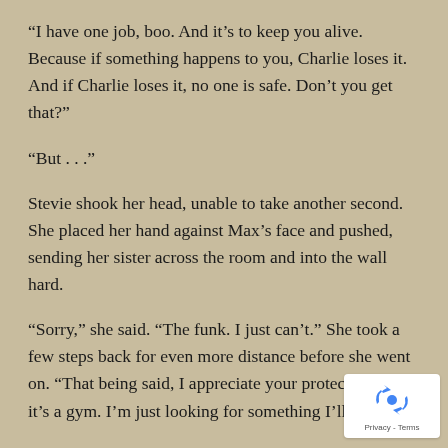“I have one job, boo. And it’s to keep you alive. Because if something happens to you, Charlie loses it. And if Charlie loses it, no one is safe. Don’t you get that?”
“But . . .”
Stevie shook her head, unable to take another second. She placed her hand against Max’s face and pushed, sending her sister across the room and into the wall hard.
“Sorry,” she said. “The funk. I just can’t.” She took a few steps back for even more distance before she went on. “That being said, I appreciate your protection, but it’s a gym. I’m just looking for something I’ll enjoy.”
“And to spend some time with Shen?”
[Figure (logo): Google reCAPTCHA badge with recycling-style arrow icon and Privacy - Terms text]